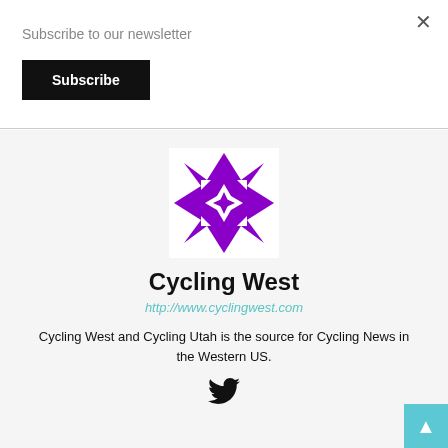Subscribe to our newsletter
Subscribe
[Figure (logo): Cycling West geometric purple kaleidoscope logo]
Cycling West
http://www.cyclingwest.com
Cycling West and Cycling Utah is the source for Cycling News in the Western US.
[Figure (illustration): Twitter bird icon]